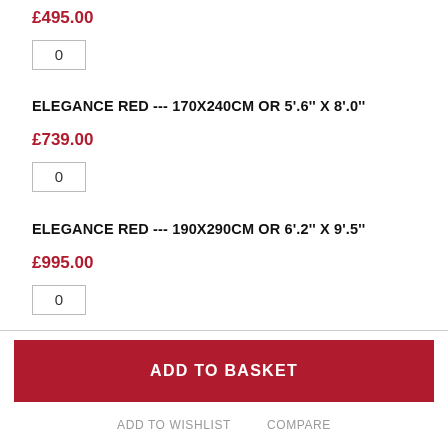£495.00
0
ELEGANCE RED --- 170X240CM OR 5'.6'' X 8'.0''
£739.00
0
ELEGANCE RED --- 190X290CM OR 6'.2'' X 9'.5''
£995.00
0
ADD TO BASKET
ADD TO WISHLIST     COMPARE